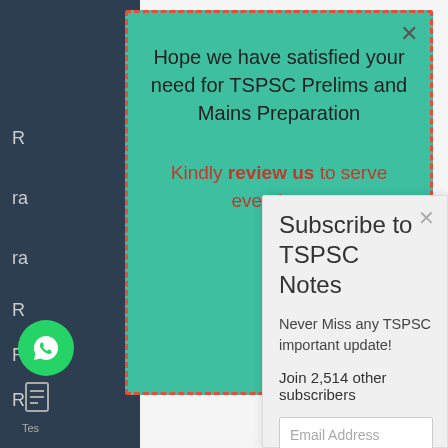[Figure (screenshot): Background page content partially visible behind two overlapping popups — dark sidebar on left with partial text lines starting with 'R', and content area on right with blue links. WhatsApp icon visible at bottom left.]
Hope we have satisfied your need for TSPSC Prelims and Mains Preparation
Kindly review us to serve even better
Subscribe to TSPSC Notes
Never Miss any TSPSC important update!
Join 2,514 other subscribers
Email Address